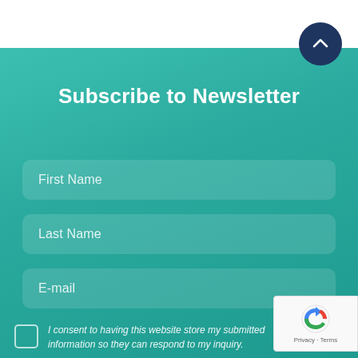Subscribe to Newsletter
First Name
Last Name
E-mail
I consent to having this website store my submitted information so they can respond to my inquiry.
[Figure (logo): reCAPTCHA badge showing robot icon with Privacy and Terms links]